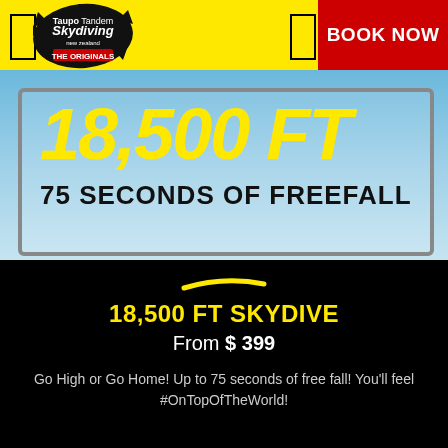[Figure (logo): Taupo Tandem Skydiving New Zealand - THE ORIGINALS logo on black splash/splat shape]
[Figure (photo): Advertisement photo showing a white license-plate style box with large yellow text '18,500 FT' and black bold text '75 SECONDS OF FREEFALL' against a blue sky background]
BOOK NOW
18,500 FT SKYDIVE
From $ 399
Go High or Go Home! Up to 75 seconds of free fall! You'll feel #OnTopOfTheWorld!